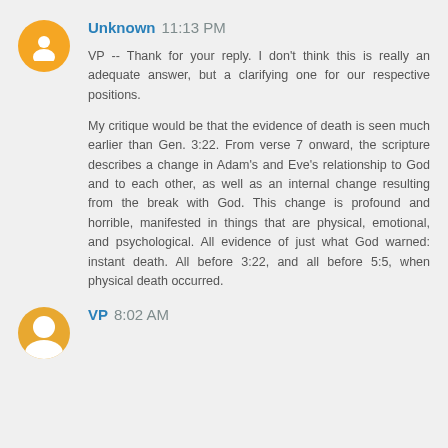Unknown 11:13 PM
VP -- Thank for your reply. I don't think this is really an adequate answer, but a clarifying one for our respective positions.

My critique would be that the evidence of death is seen much earlier than Gen. 3:22. From verse 7 onward, the scripture describes a change in Adam's and Eve's relationship to God and to each other, as well as an internal change resulting from the break with God. This change is profound and horrible, manifested in things that are physical, emotional, and psychological. All evidence of just what God warned: instant death. All before 3:22, and all before 5:5, when physical death occurred.
VP 8:02 AM